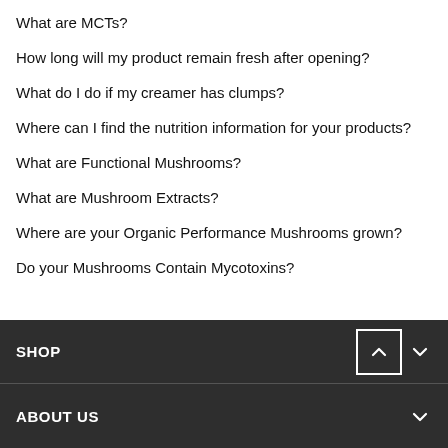What are MCTs?
How long will my product remain fresh after opening?
What do I do if my creamer has clumps?
Where can I find the nutrition information for your products?
What are Functional Mushrooms?
What are Mushroom Extracts?
Where are your Organic Performance Mushrooms grown?
Do your Mushrooms Contain Mycotoxins?
SHOP
ABOUT US